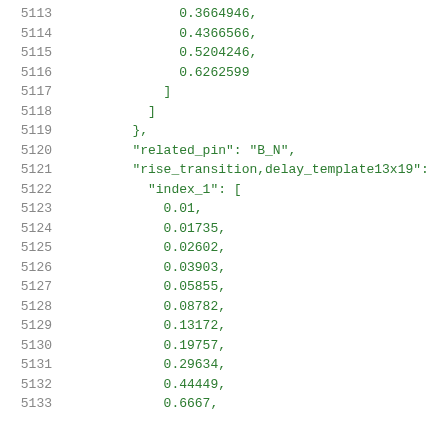Code listing lines 5113-5133 showing JSON/timing library data structure with related_pin, rise_transition, delay_template13x19, index_1 array values
5113    0.3664946,
5114    0.4366566,
5115    0.5204246,
5116    0.6262599
5117    ]
5118    ]
5119    },
5120    "related_pin": "B_N",
5121    "rise_transition,delay_template13x19":
5122    "index_1": [
5123    0.01,
5124    0.01735,
5125    0.02602,
5126    0.03903,
5127    0.05855,
5128    0.08782,
5129    0.13172,
5130    0.19757,
5131    0.29634,
5132    0.44449,
5133    0.6667,